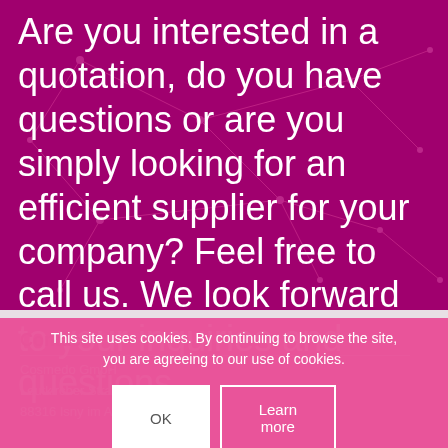Are you interested in a quotation, do you have questions or are you simply looking for an efficient supplier for your company? Feel free to call us. We look forward to your inquiries and questions.
Contact
Cosmedo GmbH
Leutkircher Straße
88316 Isny im Allgäu
This site uses cookies. By continuing to browse the site, you are agreeing to our use of cookies.